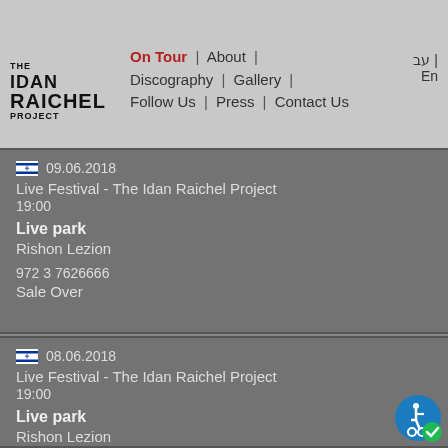The Idan Raichel Project — On Tour | About | Discography | Gallery | Follow Us | Press | Contact Us | עב | En
09.06.2018
Live Festival - The Idan Raichel Project
19:00
Live park
Rishon Lezion
972 3 7626666
Sale Over
08.06.2018
Live Festival - The Idan Raichel Project
19:00
Live park
Rishon Lezion